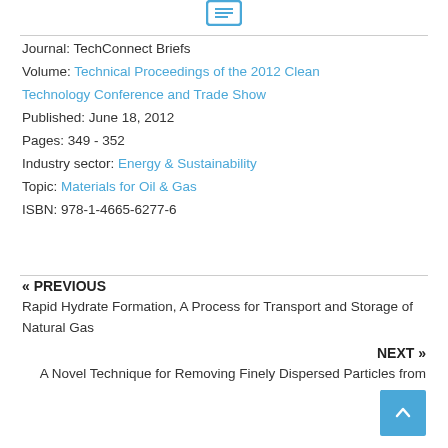[Figure (other): Small blue icon/logo at top center]
Journal: TechConnect Briefs
Volume: Technical Proceedings of the 2012 Clean Technology Conference and Trade Show
Published: June 18, 2012
Pages: 349 - 352
Industry sector: Energy & Sustainability
Topic: Materials for Oil & Gas
ISBN: 978-1-4665-6277-6
« PREVIOUS
Rapid Hydrate Formation, A Process for Transport and Storage of Natural Gas
NEXT »
A Novel Technique for Removing Finely Dispersed Particles from Tailings